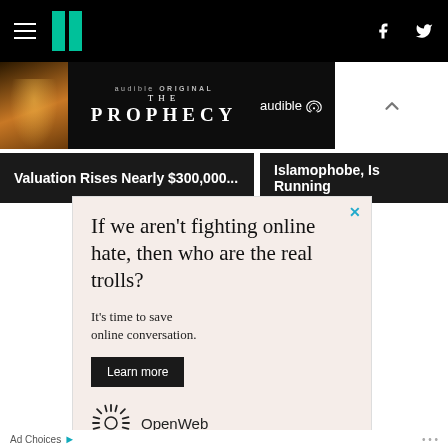HuffPost navigation bar with hamburger menu, logo, Facebook and Twitter icons
[Figure (screenshot): Audible Original 'The Prophecy' advertisement banner with a figure in golden light on left, text in center, and Audible logo on right]
Valuation Rises Nearly $300,000...
Islamophobe, Is Running
[Figure (screenshot): OpenWeb advertisement: 'If we aren't fighting online hate, then who are the real trolls? It's time to save online conversation. Learn more' with OpenWeb logo]
Ad Choices arrow